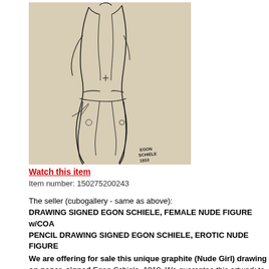[Figure (illustration): Pencil/graphite line drawing of a standing female nude figure on beige/tan paper, with a small signature at lower right reading EGON SCHIELE 1910]
Watch this item
Item number: 150275200243
The seller (cubogallery - same as above): DRAWING SIGNED EGON SCHIELE, FEMALE NUDE FIGURE w/COA PENCIL DRAWING SIGNED EGON SCHIELE, EROTIC NUDE FIGURE We are offering for sale this unique graphite (Nude Girl) drawing on paper, signed Egon Schiele, 1910. We guarantee this artwork to be one of a kind and not a copy reproduction.Very good condition, some yellowing on paper due to its age. This b has the following dimensions: height 34.4 cm, width 25.4 cm. The artwork is profe framed ready to hang. The artwork is accompanied by a Certificate of Authenticity confidence. Please note payment must be made in full within 3 business days of c For more information contact me via email.